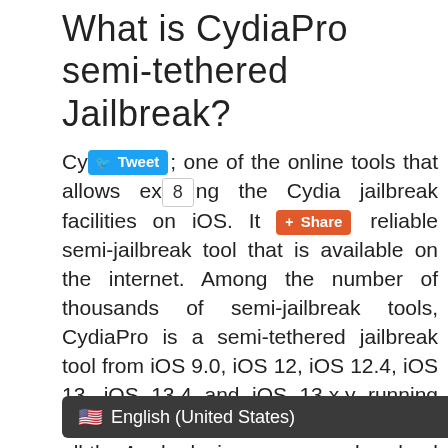What is CydiaPro semi-tethered Jailbreak?
CydiaPro [Tweet button] [8 share count] [Share button] one of the online tools that allows exploring the Cydia jailbreak facilities on iOS. It is a reliable semi-jailbreak tool that is available on the internet. Among the number of thousands of semi-jailbreak tools, CydiaPro is a semi-tethered jailbreak tool from iOS 9.0, iOS 12, iOS 12.4, iOS 13, iOS 13.4 and iOS 13.x.y running iDevices. This is a free tool and almost all the Apple device users can download Cydia iOS 13.4.1 and below versions just a single click. It is a safe jailbreak tool for iDevice users because CydiaPro allows you to get iOS jailbreak and Cydia facilities without causing any damage to your device. Without any doubt, CydiaPro is the best and the most trusted Cydia installer for
🇺🇸 English (United States)